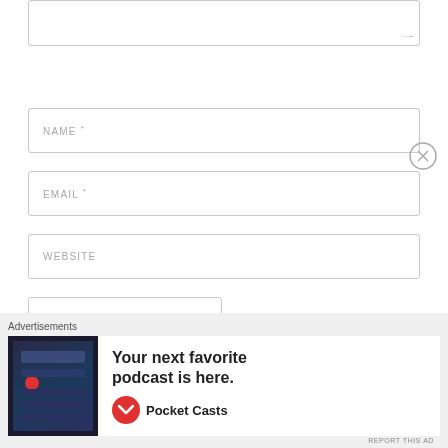[Figure (screenshot): Bottom portion of a web comment form showing textarea (partially visible), NAME *, EMAIL *, WEBSITE input fields, POST COMMENT button, and an advertisement banner at the bottom for Pocket Casts podcast app.]
NAME *
EMAIL *
WEBSITE
POST COMMENT
Advertisements
Your next favorite podcast is here.
Pocket Casts
REPORT THIS AD